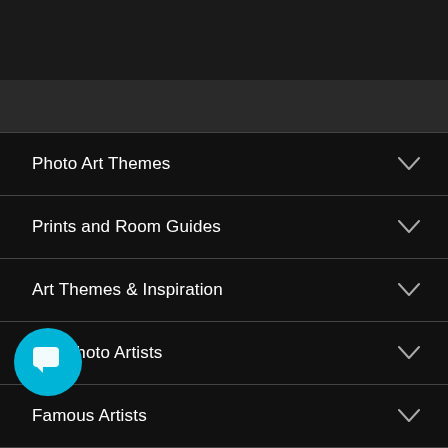Photo Art Themes
Prints and Room Guides
Art Themes & Inspiration
Top Photo Artists
Famous Artists
Help
…UMAS
Business
[Figure (illustration): Circular chat/feedback button in cyan/teal color with a speech bubble icon, overlaid on the menu list]